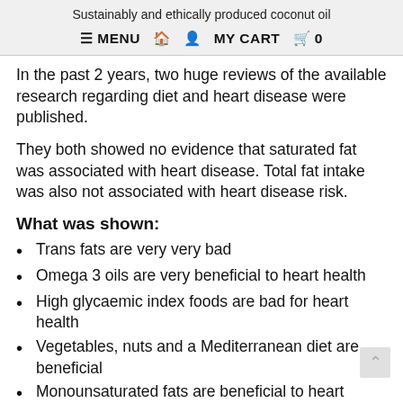Sustainably and ethically produced coconut oil
≡ MENU  🏠  👤  MY CART  🛒  0
In the past 2 years, two huge reviews of the available research regarding diet and heart disease were published.
They both showed no evidence that saturated fat was associated with heart disease. Total fat intake was also not associated with heart disease risk.
What was shown:
Trans fats are very very bad
Omega 3 oils are very beneficial to heart health
High glycaemic index foods are bad for heart health
Vegetables, nuts and a Mediterranean diet are beneficial
Monounsaturated fats are beneficial to heart